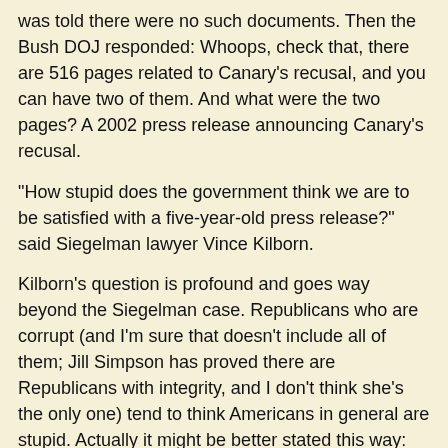was told there were no such documents. Then the Bush DOJ responded: Whoops, check that, there are 516 pages related to Canary's recusal, and you can have two of them. And what were the two pages? A 2002 press release announcing Canary's recusal.
"How stupid does the government think we are to be satisfied with a five-year-old press release?" said Siegelman lawyer Vince Kilborn.
Kilborn's question is profound and goes way beyond the Siegelman case. Republicans who are corrupt (and I'm sure that doesn't include all of them; Jill Simpson has proved there are Republicans with integrity, and I don't think she's the only one) tend to think Americans in general are stupid. Actually it might be better stated this way: Certain Republicans, the loyal Bushies, etc., think Americans are so stupid or inattentive--or have so bought into Republican rhetoric regarding race, crime, tax cuts, religion, etc.--that they will let the GOP get away with most anything.
But you wonder: Will even the white suburban GOP base, once the chips are down, is in the Deep South, to let ...